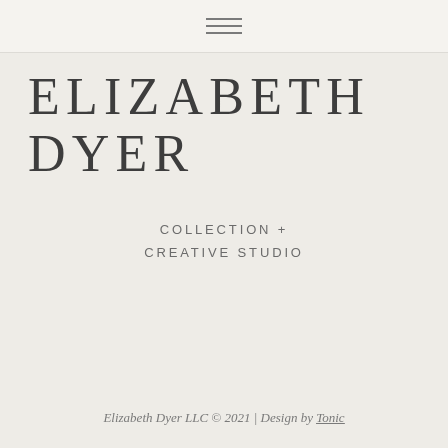[Figure (other): Hamburger menu icon with three horizontal lines]
ELIZABETH DYER
COLLECTION +
CREATIVE STUDIO
Elizabeth Dyer LLC © 2021 | Design by Tonic